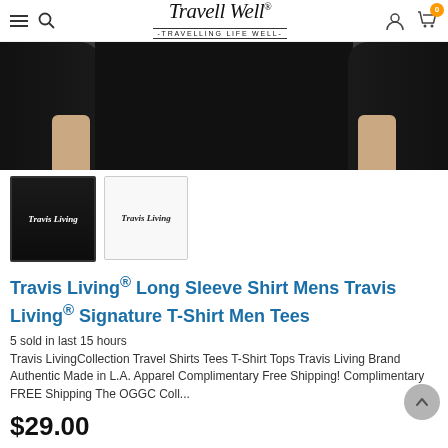Travell Well - TRAVELLING LIFE WELL-
[Figure (photo): Main product photo: person wearing a black long sleeve shirt, torso cropped, arms at sides, dark background]
[Figure (photo): Thumbnail: black long sleeve shirt with Travis Living script logo]
[Figure (photo): Thumbnail: white long sleeve shirt with Travis Living script logo]
Travis Living® Long Sleeve Shirt Mens Travis Living® Signature T-Shirt Men Tees
5 sold in last 15 hours
Travis LivingCollection Travel Shirts Tees T-Shirt Tops Travis Living Brand Authentic Made in L.A. Apparel Complimentary Free Shipping! Complimentary FREE Shipping The OGGC Coll...
$29.00